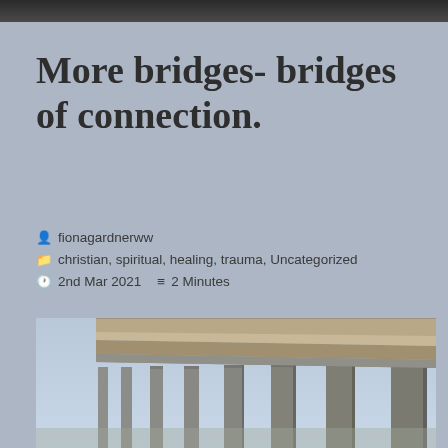More bridges- bridges of connection.
fionagardnerww
christian, spiritual, healing, trauma, Uncategorized
2nd Mar 2021   2 Minutes
[Figure (photo): Photo of a large elevated bridge or viaduct with concrete pillars against a blue sky, viewed from below at an angle showing the underside of the bridge deck and supporting columns.]